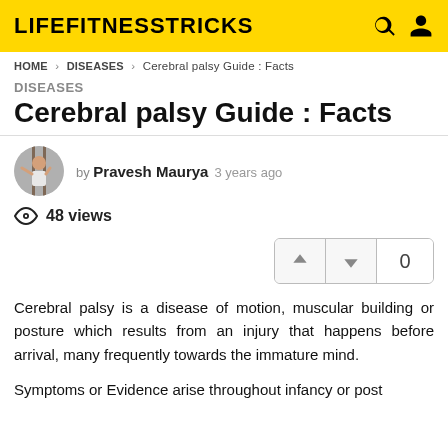LIFEFITNESSTRICKS
HOME > DISEASES > Cerebral palsy Guide : Facts
DISEASES
Cerebral palsy Guide : Facts
by Pravesh Maurya  3 years ago
48 views
↑ ↓ 0
Cerebral palsy is a disease of motion, muscular building or posture which results from an injury that happens before arrival, many frequently towards the immature mind.
Symptoms or Evidence arise throughout infancy or post